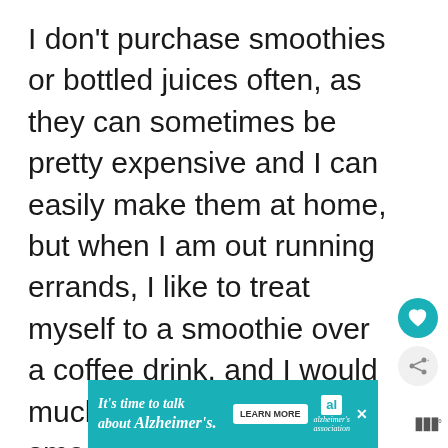I don't purchase smoothies or bottled juices often, as they can sometimes be pretty expensive and I can easily make them at home, but when I am out running errands, I like to treat myself to a smoothie over a coffee drink, and I would much rather pick up a smoothie or juice as a snack or quick on the go breakfast, than getting fast food.
[Figure (other): Advertisement banner with teal background. Text reads 'It's time to talk about Alzheimer's.' with a 'LEARN MORE' button and the Alzheimer's Association logo.]